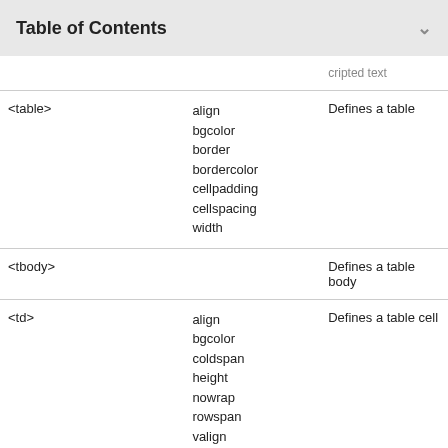Table of Contents
| Tag | Attributes | Description |
| --- | --- | --- |
|  |  | cripted text |
| <table> | align
bgcolor
border
bordercolor
cellpadding
cellspacing
width | Defines a table |
| <tbody> |  | Defines a table body |
| <td> | align
bgcolor
coldspan
height
nowrap
rowspan
valign | Defines a table cell |